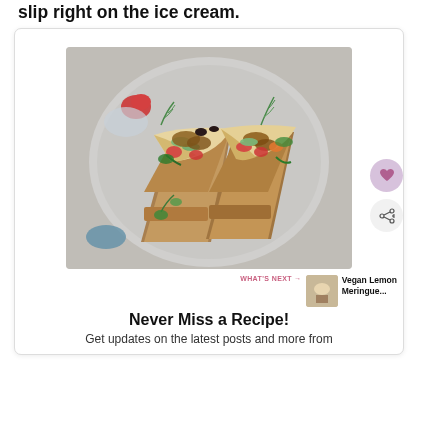slip right on the ice cream.
[Figure (photo): Two pita wraps filled with cauliflower, tomatoes, cucumbers, olives, and dill, wrapped in brown parchment paper cones, served on a plate]
Never Miss a Recipe!
Get updates on the latest posts and more from
WHAT'S NEXT → Vegan Lemon Meringue...